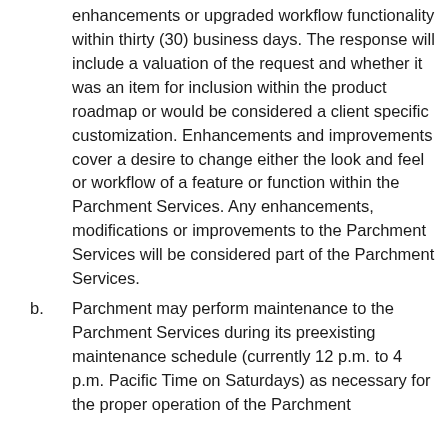enhancements or upgraded workflow functionality within thirty (30) business days. The response will include a valuation of the request and whether it was an item for inclusion within the product roadmap or would be considered a client specific customization. Enhancements and improvements cover a desire to change either the look and feel or workflow of a feature or function within the Parchment Services. Any enhancements, modifications or improvements to the Parchment Services will be considered part of the Parchment Services.
Parchment may perform maintenance to the Parchment Services during its preexisting maintenance schedule (currently 12 p.m. to 4 p.m. Pacific Time on Saturdays) as necessary for the proper operation of the Parchment